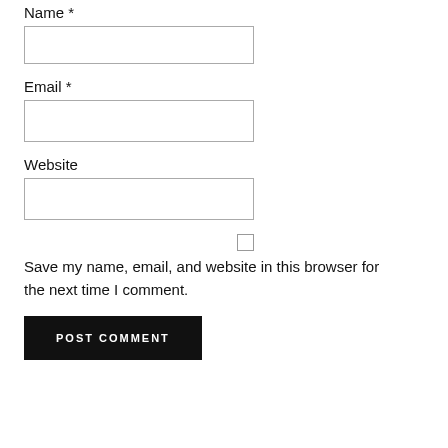Name *
Email *
Website
Save my name, email, and website in this browser for the next time I comment.
POST COMMENT